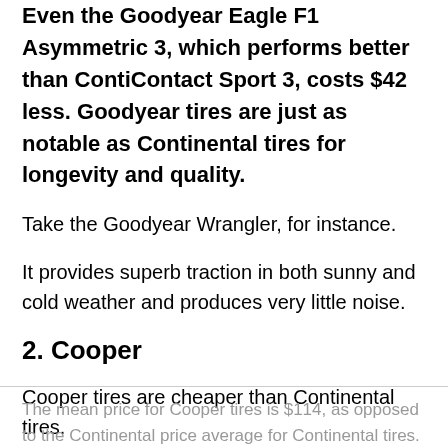Even the Goodyear Eagle F1 Asymmetric 3, which performs better than ContiContact Sport 3, costs $42 less. Goodyear tires are just as notable as Continental tires for longevity and quality.
Take the Goodyear Wrangler, for instance.
It provides superb traction in both sunny and cold weather and produces very little noise.
2. Cooper
Cooper tires are cheaper than Continental tires.
The mean price for Cooper tires is $114, as opposed to the Continental price average for Continental tires.